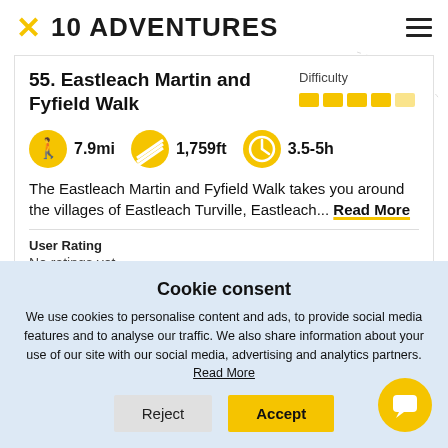10 ADVENTURES
55. Eastleach Martin and Fyfield Walk
Difficulty
[Figure (infographic): Difficulty rating bars showing approximately 4 out of 5 filled yellow bars]
[Figure (infographic): Walking stats icons: hiker icon 7.9mi, terrain icon 1,759ft, clock icon 3.5-5h]
The Eastleach Martin and Fyfield Walk takes you around the villages of Eastleach Turville, Eastleach... Read More
User Rating
No ratings yet
Cookie consent
We use cookies to personalise content and ads, to provide social media features and to analyse our traffic. We also share information about your use of our site with our social media, advertising and analytics partners. Read More
Reject
Accept